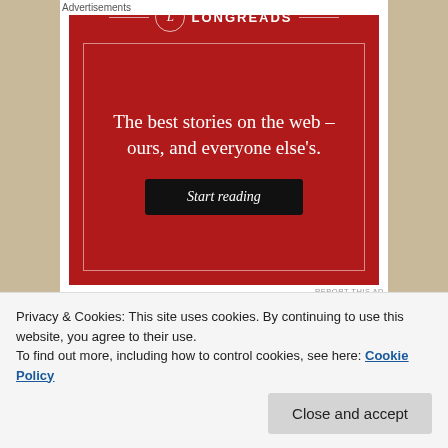Advertisements
[Figure (illustration): Longreads advertisement: red background with Longreads logo (L in circle), tagline 'The best stories on the web – ours, and everyone else's.', and a black 'Start reading' button.]
REPORT THIS AD
SHARE THIS:
Privacy & Cookies: This site uses cookies. By continuing to use this website, you agree to their use. To find out more, including how to control cookies, see here: Cookie Policy